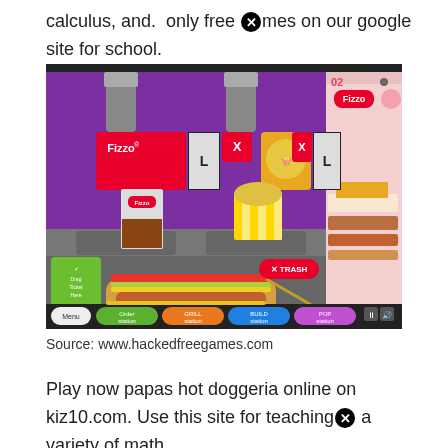calculus, and.  only free [blocked]mes on our google site for school.
[Figure (screenshot): Screenshot of Papa's Hot Doggeria game showing the pop station with a hot dog being assembled, Fizzo drink station, popcorn station, order ticket area, and navigation buttons at bottom (Menu, Order station, Grill station, Build station, Pop station).]
Source: www.hackedfreegames.com
Play now papas hot doggeria online on kiz10.com. Use this site for teaching [blocked] a variety of math